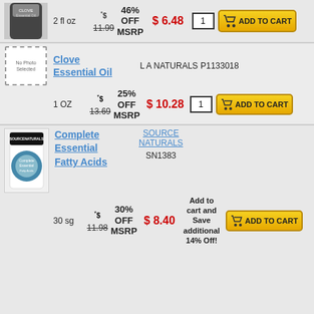[Figure (photo): Product bottle image (partial, top cropped)]
2 fl oz  *$ 11.99 (strikethrough)  46% OFF MSRP  $6.48  1  ADD TO CART
[Figure (photo): No Photo Selected placeholder image]
Clove Essential Oil
L A NATURALS  P1133018
1 OZ  *$ 13.69 (strikethrough)  25% OFF MSRP  $10.28  1  ADD TO CART
[Figure (photo): Complete Essential Fatty Acids supplement bottle]
Complete Essential Fatty Acids
SOURCE NATURALS  SN1383
30 sg  *$ 11.98 (strikethrough)  30% OFF MSRP  $8.40  Add to cart and Save additional 14% Off!  ADD TO CART